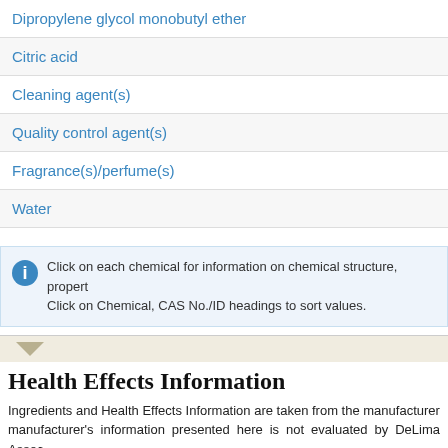Dipropylene glycol monobutyl ether
Citric acid
Cleaning agent(s)
Quality control agent(s)
Fragrance(s)/perfume(s)
Water
Click on each chemical for information on chemical structure, propert... Click on Chemical, CAS No./ID headings to sort values.
Health Effects Information
Ingredients and Health Effects Information are taken from the manufacturer... manufacturer's information presented here is not evaluated by DeLima Assoc...
MSDS DATE :    November 01, 1999